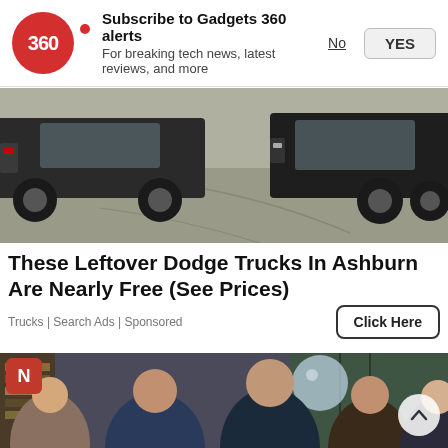[Figure (screenshot): Gadgets 360 notification subscription banner with red circular logo showing '360', bold title 'Subscribe to Gadgets 360 alerts', subtitle 'For breaking tech news, latest reviews, and more', and two buttons: 'No' (underlined) and 'YES']
[Figure (photo): Partial photo of trucks in a parking lot, showing front and side views of dark pickup trucks on a paved surface]
These Leftover Dodge Trucks In Ashburn Are Nearly Free (See Prices)
Trucks | Search Ads | Sponsored
[Figure (photo): Group photo of several people posing together indoors, with a bookshelf in the background and a decorative glass sphere. Red N logo badge visible in top-left corner.]